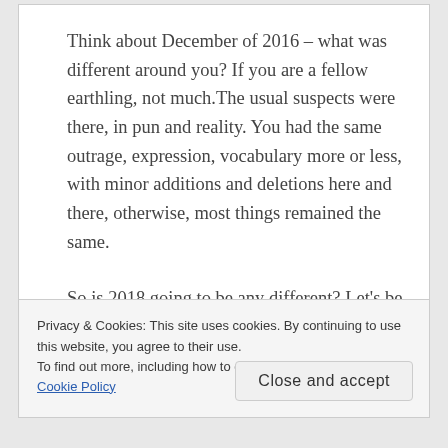Think about December of 2016 – what was different around you?  If you are a fellow earthling, not much.The usual suspects were there, in pun and reality. You had the same outrage, expression, vocabulary more or less, with minor additions and deletions here and there, otherwise, most things remained the same.
So is 2018 going to be any different? Let's be different by not just hoping, but by doing. By changing things which are in your control for the
Privacy & Cookies: This site uses cookies. By continuing to use this website, you agree to their use.
To find out more, including how to control cookies, see here: Cookie Policy